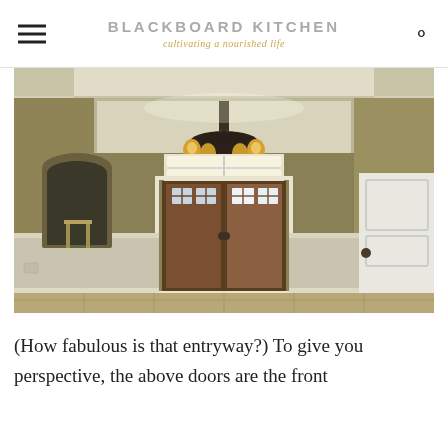BLACKBOARD KITCHEN — cultivating a nourished life
[Figure (photo): Interior entryway/foyer of a home featuring a wooden double front door with glass panels, an arched niche in the wall, a decorative chandelier with amber glass shades, tray ceiling with crown molding, and tile flooring. Walls painted in olive/khaki tones with white wainscoting.]
(How fabulous is that entryway?) To give you perspective, the above doors are the front